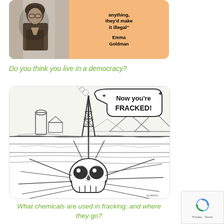[Figure (illustration): Card with black-and-white photo of Emma Goldman on the left and an orange background with bold quote text on the right: 'anything, they'd make it illegal' attributed to Emma Goldman]
Do you think you live in a democracy?
[Figure (illustration): Black and white cartoon illustration of a fracking drill with a speech bubble saying 'NOW YOU'RE FRACKED!' showing a skull underground with radiating cracks in the earth]
What chemicals are used in fracking, and where they go?